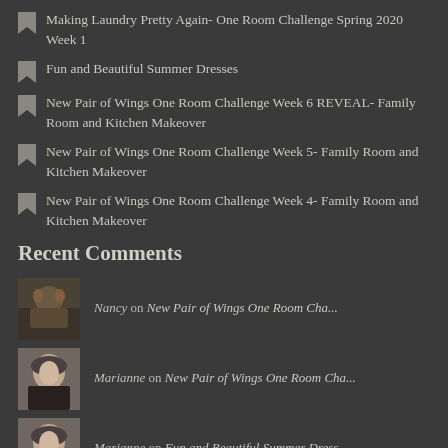Making Laundry Pretty Again- One Room Challenge Spring 2020 Week 1
Fun and Beautiful Summer Dresses
New Pair of Wings One Room Challenge Week 6 REVEAL- Family Room and Kitchen Makeover
New Pair of Wings One Room Challenge Week 5- Family Room and Kitchen Makeover
New Pair of Wings One Room Challenge Week 4- Family Room and Kitchen Makeover
Recent Comments
Nancy on New Pair of Wings One Room Cha...
Marianne on New Pair of Wings One Room Cha...
Marianne on Fun and Beautiful Summer Dress...
Marianne on New Pair of Wings One Room Cha...